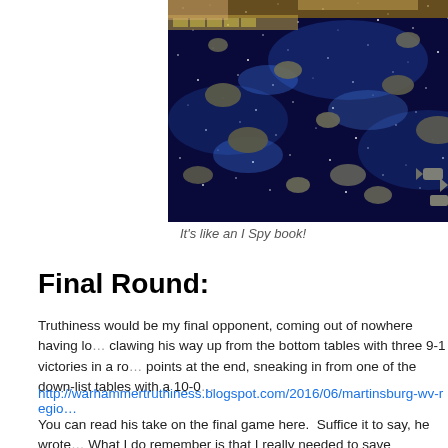[Figure (photo): A space-themed tabletop wargame board with dark blue starfield, asteroids, and miniature spaceships arranged on the playing surface. A person's arm is visible at the top.]
It's like an I Spy book!
Final Round:
Truthiness would be my final opponent, coming out of nowhere having lo... clawing his way up from the bottom tables with three 9-1 victories in a ro... points at the end, sneaking in from one of the down-list tables with a 10-0...
http://warhammertruthiness.blogspot.com/2016/06/martinsburg-wv-regio...
You can read his take on the final game here.  Suffice it to say, he wrote... What I do remember is that I really needed to save Dodonna by sneakin...